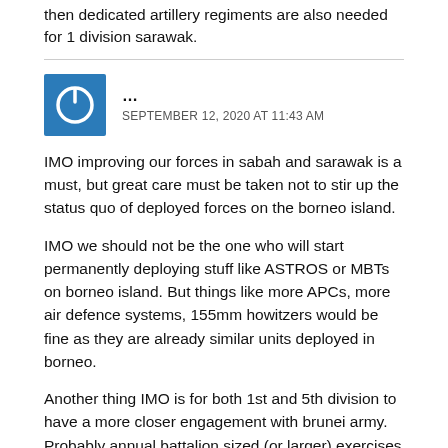then dedicated artillery regiments are also needed for 1 division sarawak.
[Figure (illustration): Blue square avatar with a power button icon (circle with a vertical line at the top), typical of a default user avatar for blog comments.]
...
SEPTEMBER 12, 2020 AT 11:43 AM
IMO improving our forces in sabah and sarawak is a must, but great care must be taken not to stir up the status quo of deployed forces on the borneo island.
IMO we should not be the one who will start permanently deploying stuff like ASTROS or MBTs on borneo island. But things like more APCs, more air defence systems, 155mm howitzers would be fine as they are already similar units deployed in borneo.
Another thing IMO is for both 1st and 5th division to have a more closer engagement with brunei army. Probably annual battalion sized (or larger) exercises should be conducted in